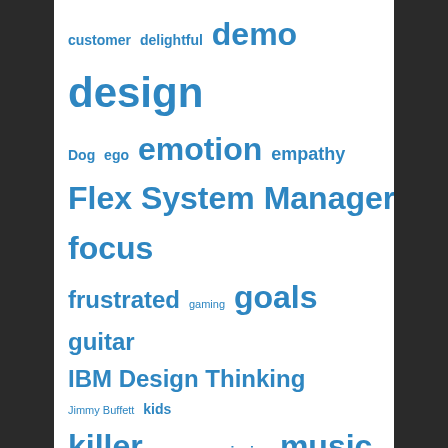[Figure (infographic): Word cloud with blue words of varying sizes: customer, delightful, demo, design, Dog, ego, emotion, empathy, Flex System Manager, focus, frustrated, gaming, goals, guitar, IBM Design Thinking, Jimmy Buffett, kids, killer, measure, mission, music, navigation, passion, power, presentation, productive, purpose, relevant, review, serve, Speaking, story, think, Travel, trust, Up With People, usable, useful, video]